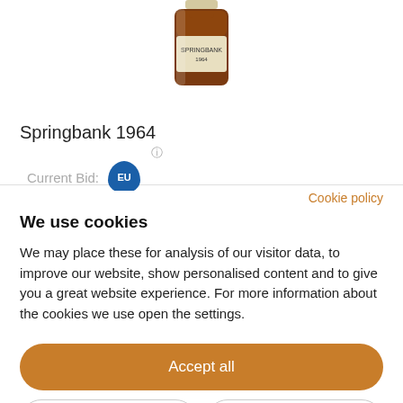[Figure (photo): A bottle of Springbank 1964 whisky, showing amber-coloured liquid in a glass bottle with a light-coloured label and cap, cropped at the top]
Springbank 1964
Current Bid: EU £3,000
Cookie policy
We use cookies
We may place these for analysis of our visitor data, to improve our website, show personalised content and to give you a great website experience. For more information about the cookies we use open the settings.
Accept all
Deny
No, adjust